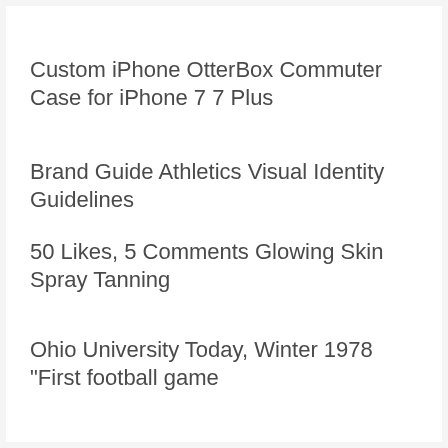Custom iPhone OtterBox Commuter Case for iPhone 7 7 Plus
Brand Guide Athletics Visual Identity Guidelines
50 Likes, 5 Comments Glowing Skin Spray Tanning
Ohio University Today, Winter 1978 "First football game